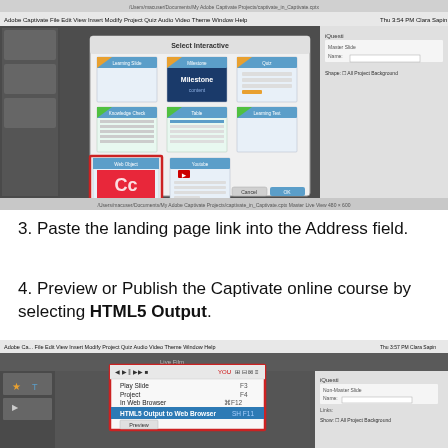[Figure (screenshot): Adobe Captivate application screenshot showing a 'Select Interactive' dialog with multiple interactive widget thumbnails including a highlighted 'Web Object' (Adobe CC logo) template selected with a red border, and a YouTube/Video widget option visible.]
3. Paste the landing page link into the Address field.
4. Preview or Publish the Captivate online course by selecting HTML5 Output.
[Figure (screenshot): Adobe Captivate application screenshot showing the Preview menu expanded with options: Play Slide, Project, In Web Browser, HTML5 Output to Web Browser (highlighted in blue), and Preview button visible inside a red-bordered highlight box.]